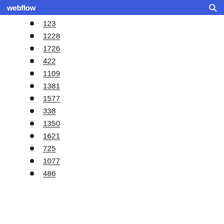webflow
123
1228
1726
422
1109
1381
1577
338
1350
1621
725
1077
486